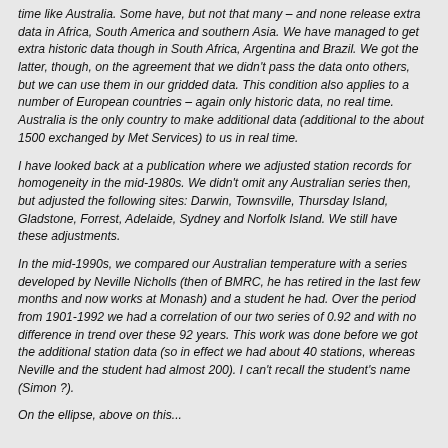time like Australia. Some have, but not that many – and none release extra data in Africa, South America and southern Asia. We have managed to get extra historic data though in South Africa, Argentina and Brazil. We got the latter, though, on the agreement that we didn't pass the data onto others, but we can use them in our gridded data. This condition also applies to a number of European countries – again only historic data, no real time. Australia is the only country to make additional data (additional to the about 1500 exchanged by Met Services) to us in real time.
I have looked back at a publication where we adjusted station records for homogeneity in the mid-1980s. We didn't omit any Australian series then, but adjusted the following sites: Darwin, Townsville, Thursday Island, Gladstone, Forrest, Adelaide, Sydney and Norfolk Island. We still have these adjustments.
In the mid-1990s, we compared our Australian temperature with a series developed by Neville Nicholls (then of BMRC, he has retired in the last few months and now works at Monash) and a student he had. Over the period from 1901-1992 we had a correlation of our two series of 0.92 and with no difference in trend over these 92 years. This work was done before we got the additional station data (so in effect we had about 40 stations, whereas Neville and the student had almost 200). I can't recall the student's name (Simon ?).
On the ellipse, above on this...